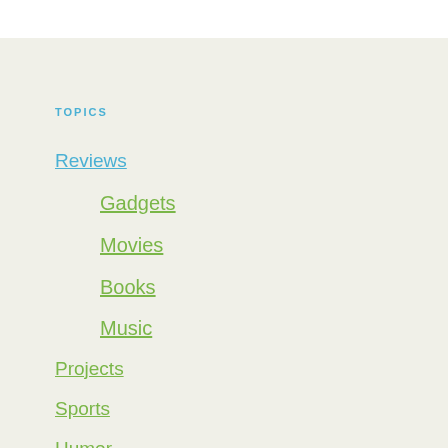TOPICS
Reviews
Gadgets
Movies
Books
Music
Projects
Sports
Humor